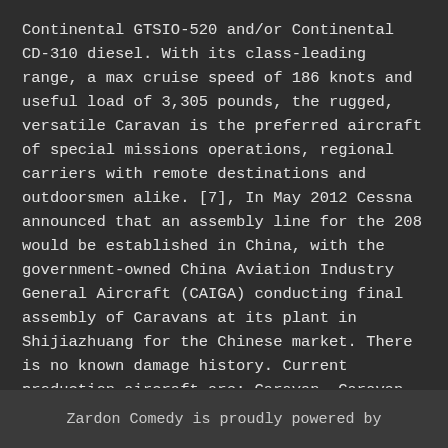Continental GTSIO-520 and/or Continental CD-310 diesel. With its class-leading range, a max cruise speed of 186 knots and useful load of 3,305 pounds, the rugged, versatile Caravan is the preferred aircraft of special missions operations, regional carriers with remote destinations and outdoorsmen alike. [7], In May 2012 Cessna announced that an assembly line for the 208 would be established in China, with the government-owned China Aviation Industry General Aircraft (CAIGA) conducting final assembly of Caravans at its plant in Shijiazhuang for the Chinese market. There is no known damage history. Current production aircraft are: Caravan, Caravan Ambhibian, Grand Caravan EX, ... On November 20, 1981, the project was given a go-ahead by Cessna for its Pawnee
Zardon Comedy is proudly powered by